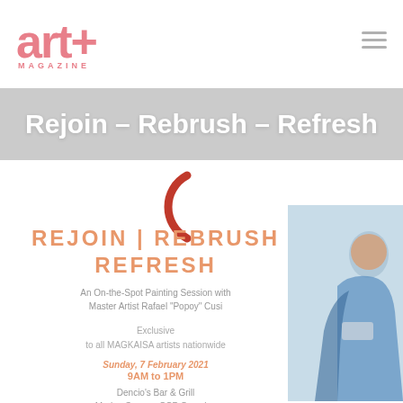art+ MAGAZINE
Rejoin – Rebrush – Refresh
[Figure (illustration): Red decorative parenthesis/brush stroke graphic]
REJOIN | REBRUSH REFRESH
An On-the-Spot Painting Session with Master Artist Rafael "Popoy" Cusi
Exclusive
to all MAGKAISA artists nationwide
Sunday, 7 February 2021
9AM to 1PM
Dencio's Bar & Grill
Marine Square, CCP Complex
[Figure (photo): Person painting or drawing, photographed from the side, on a light blue/teal background]